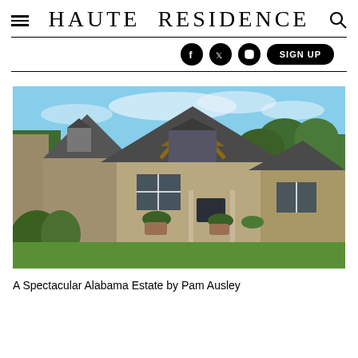Haute Residence
[Figure (photo): Exterior photo of a large brick and stone estate home with steep gabled rooflines, wooden beam accents, large windows, manicured landscaping, and green lawn under a blue sky.]
A Spectacular Alabama Estate by Pam Ausley